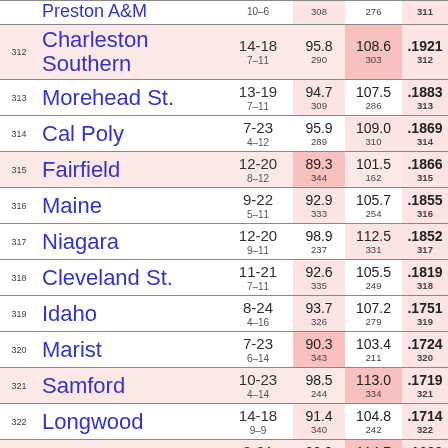| # | Team | Record | Off | Def | Rating |
| --- | --- | --- | --- | --- | --- |
|  | Preston A&M | 10-6 / 7-11 | 308 | 276 | .311 |
| 312 | Charleston Southern | 14-18 / 7-11 | 95.8 / 290 | 108.6 / 303 | .1921 / 312 |
| 313 | Morehead St. | 13-19 / 7-11 | 94.7 / 309 | 107.5 / 286 | .1883 / 313 |
| 314 | Cal Poly | 7-23 / 4-12 | 95.9 / 289 | 109.0 / 310 | .1869 / 314 |
| 315 | Fairfield | 12-20 / 8-12 | 89.3 / 344 | 101.5 / 162 | .1866 / 315 |
| 316 | Maine | 9-22 / 5-11 | 92.9 / 333 | 105.7 / 254 | .1855 / 316 |
| 317 | Niagara | 12-20 / 9-11 | 98.9 / 237 | 112.5 / 331 | .1852 / 317 |
| 318 | Cleveland St. | 11-21 / 7-11 | 92.6 / 335 | 105.5 / 249 | .1819 / 318 |
| 319 | Idaho | 8-24 / 4-16 | 93.7 / 326 | 107.2 / 279 | .1751 / 319 |
| 320 | Marist | 7-23 / 6-14 | 90.3 / 343 | 103.4 / 211 | .1724 / 320 |
| 321 | Samford | 10-23 / 4-14 | 98.5 / 244 | 113.0 / 334 | .1719 / 321 |
| 322 | Longwood | 14-18 / 9-9 | 91.4 / 340 | 104.8 / 242 | .1714 / 322 |
| 323 | New Orleans | 9-21 / 5-15 | 99.9 / 318 | 114.7 / 343 | .1690 / 323 |